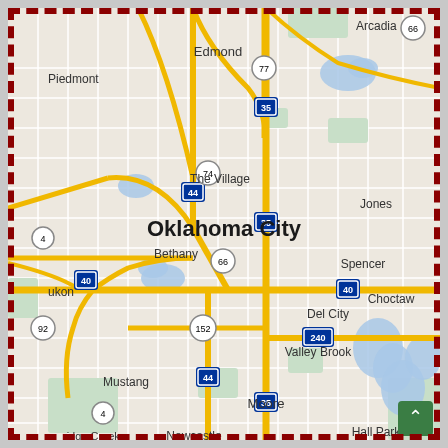[Figure (map): Google Maps style road map of Oklahoma City metro area showing surrounding cities including Edmond, The Village, Bethany, Jones, Spencer, Choctaw, Del City, Valley Brook, Moore, Mustang, Newcastle, Norman, Hall Park, Bridge Creek, Arcadia, Piedmont, Yukon. Major highways visible include I-40, I-35, I-44, I-240, US-77, US-74, US-66, US-152, and others. The map shows a road grid with yellow major roads, water bodies in blue, and green parks/spaces. Oklahoma City label appears prominently in the center.]